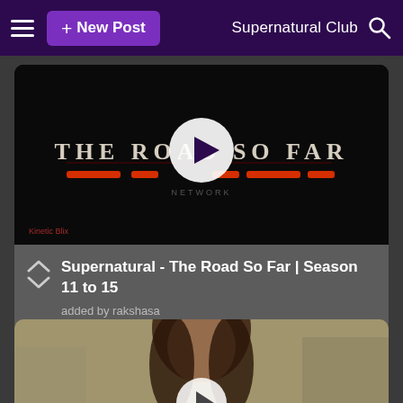≡  + New Post    Supernatural Club 🔍
[Figure (screenshot): Video thumbnail for 'THE ROAD SO FAR' with play button overlay and small text 'Kinetic Blix' in bottom left corner. Dark background with red glowing text.]
Supernatural - The Road So Far | Season 11 to 15
added by rakshasa
[Figure (photo): Partial video card showing a woman with long brown hair in an outdoor setting, with a partial play button visible at the bottom.]